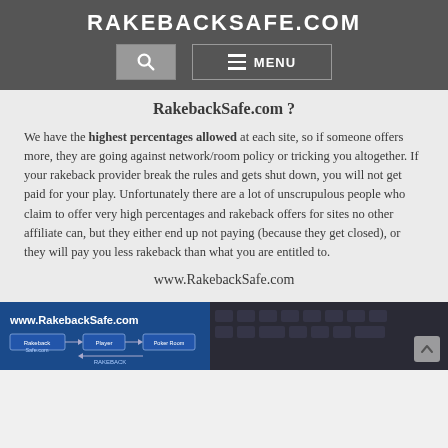RAKEBACKSAFE.COM
RakebackSafe.com ?
We have the highest percentages allowed at each site, so if someone offers more, they are going against network/room policy or tricking you altogether. If your rakeback provider break the rules and gets shut down, you will not get paid for your play. Unfortunately there are a lot of unscrupulous people who claim to offer very high percentages and rakeback offers for sites no other affiliate can, but they either end up not paying (because they get closed), or they will pay you less rakeback than what you are entitled to.
www.RakebackSafe.com
[Figure (screenshot): Banner image showing www.RakebackSafe.com website with a diagram of rakeback flow between player, rakeback safe, and poker rooms, alongside a keyboard image.]